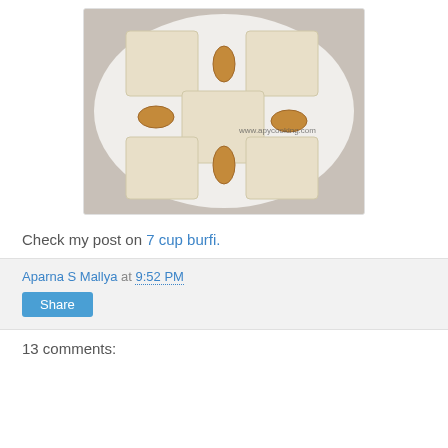[Figure (photo): A white plate with 5 square pieces of burfi (Indian sweet) arranged in a checkerboard pattern with 3 almonds placed between them. The photo has a watermark reading www.apycooking.com]
Check my post on 7 cup burfi.
Aparna S Mallya at 9:52 PM
Share
13 comments: